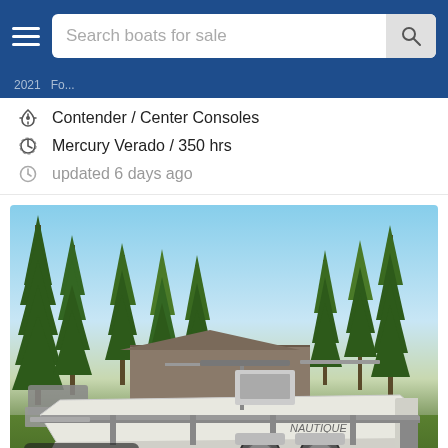Search boats for sale
Contender / Center Consoles
Mercury Verado / 350 hrs
updated 6 days ago
[Figure (photo): White center console boat on a trailer parked on grass in front of trees and a metal building, with price badge $24,000]
$24,000